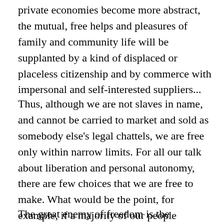private economies become more abstract, the mutual, free helps and pleasures of family and community life will be supplanted by a kind of displaced or placeless citizenship and by commerce with impersonal and self-interested suppliers...
Thus, although we are not slaves in name, and cannot be carried to market and sold as somebody else's legal chattels, we are free only within narrow limits. For all our talk about liberation and personal autonomy, there are few choices that we are free to make. What would be the point, for example, if a majority of our people decided to be self-employed?
The great enemy of freedom is the alignment of